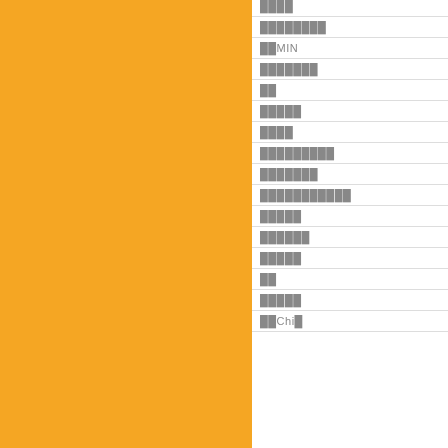[Figure (other): Orange/amber solid color panel occupying the left half of the page]
| ████ |
| ████████ |
| ██MIN |
| ███████ |
| ██ |
| █████ |
| ████ |
| █████████ |
| ███████ |
| ███████████ |
| █████ |
| ██████ |
| █████ |
| ██ |
| █████ |
| ██Chi█ |